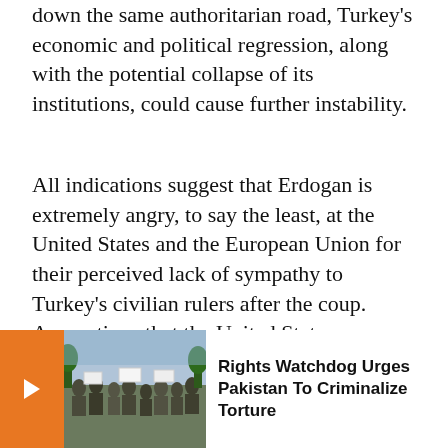down the same authoritarian road, Turkey's economic and political regression, along with the potential collapse of its institutions, could cause further instability.
All indications suggest that Erdogan is extremely angry, to say the least, at the United States and the European Union for their perceived lack of sympathy to Turkey's civilian rulers after the coup. Accusations that the United States was behind the coup, openly and repeatedly stated by state-run media and government ministers, are clues that relations between Turkey and the West have become even further strained. It's anybody's guess how long Turkey can hol[d on to its increasingly] anti-Western r[hetoric without straining] the United Sta[tes...]
[Figure (photo): A notification/recommendation overlay bar at the bottom of the page showing an orange arrow button on the left, a crowd protest photo in the center, and the text 'Rights Watchdog Urges Pakistan To Criminalize Torture' on the right.]